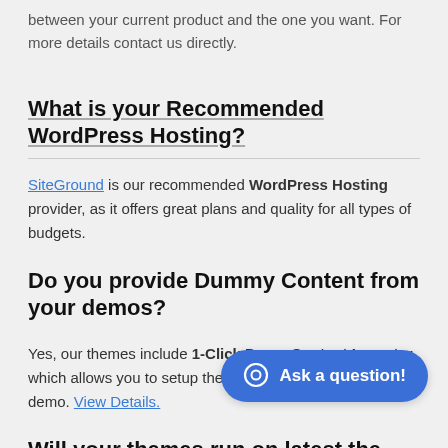between your current product and the one you want. For more details contact us directly.
What is your Recommended WordPress Hosting?
SiteGround is our recommended WordPress Hosting provider, as it offers great plans and quality for all types of budgets.
Do you provide Dummy Content from your demos?
Yes, our themes include 1-Click Demo Content Importer which allows you to setup the theme quickly as in the demo. View Details.
Will your themes run on latest the